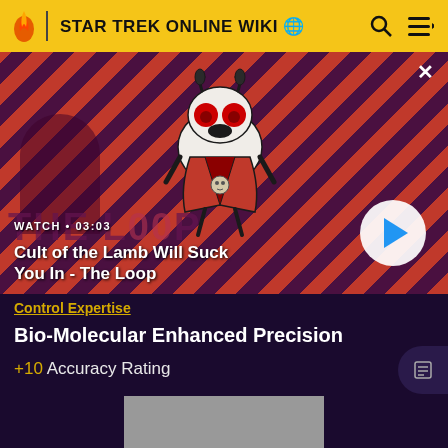STAR TREK ONLINE WIKI
[Figure (screenshot): Video thumbnail for 'Cult of the Lamb Will Suck You In - The Loop' with animated lamb character, diagonal red and dark striped background, watch label, timestamp 03:03, and play button]
Control Expertise
Bio-Molecular Enhanced Precision
+10 Accuracy Rating